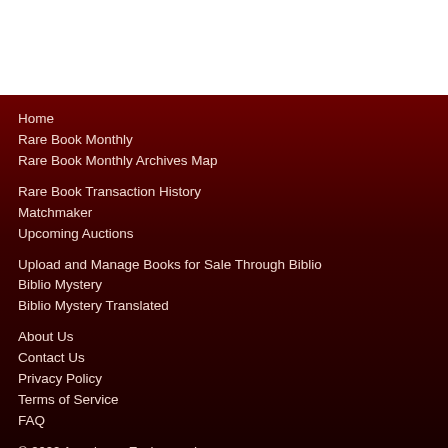Home
Rare Book Monthly
Rare Book Monthly Archives Map
Rare Book Transaction History
Matchmaker
Upcoming Auctions
Upload and Manage Books for Sale Through Biblio
Biblio Mystery
Biblio Mystery Translated
About Us
Contact Us
Privacy Policy
Terms of Service
FAQ
© 2022 Americana Exchange, Inc.